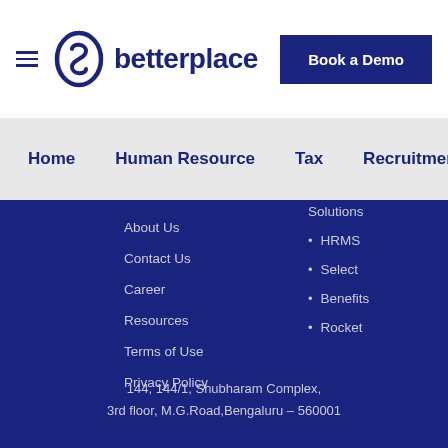[Figure (logo): Betterplace logo with circular icon and text]
Book a Demo
Home   Human Resource   Tax   Recruitment   HRMS
About Us
Contact Us
Career
Resources
Terms of Use
Privacy Policy
Solutions
HRMS
Select
Benefits
Rocket
144, 144/1, Shubharam Complex,
3rd floor, M.G.Road,Bengaluru – 560001